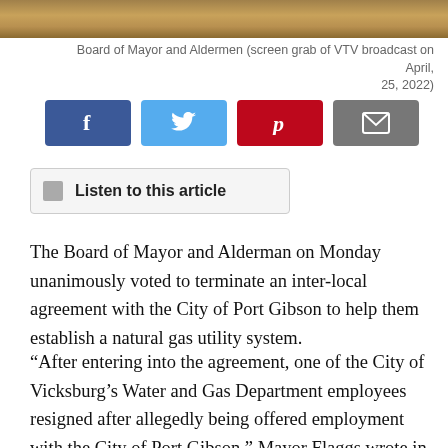[Figure (photo): Wood-panel background photo strip at top of page — screen grab from VTV broadcast of Board of Mayor and Aldermen, April 25, 2022]
Board of Mayor and Aldermen (screen grab of VTV broadcast on April, 25, 2022)
[Figure (infographic): Row of four social sharing buttons: Facebook (dark blue, f icon), Twitter (light blue, bird icon), Pinterest (red, p icon), Email (gray, envelope icon)]
Listen to this article
The Board of Mayor and Alderman on Monday unanimously voted to terminate an inter-local agreement with the City of Port Gibson to help them establish a natural gas utility system.
“After entering into the agreement, one of the City of Vicksburg’s Water and Gas Department employees resigned after allegedly being offered employment with the City of Port Gibson,” Mayor Flaggs wrote in a letter to Port Gibson Mayor Willie White.